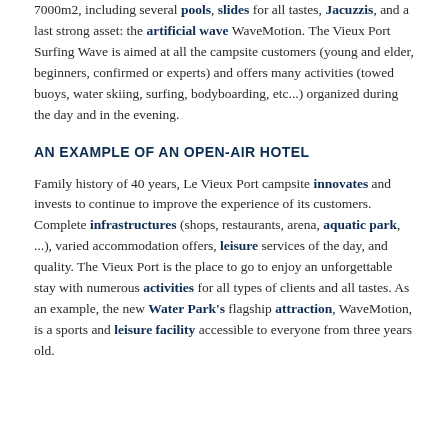7000m2, including several pools, slides for all tastes, Jacuzzis, and a last strong asset: the artificial wave WaveMotion. The Vieux Port Surfing Wave is aimed at all the campsite customers (young and elder, beginners, confirmed or experts) and offers many activities (towed buoys, water skiing, surfing, bodyboarding, etc...) organized during the day and in the evening.
AN EXAMPLE OF AN OPEN-AIR HOTEL
Family history of 40 years, Le Vieux Port campsite innovates and invests to continue to improve the experience of its customers. Complete infrastructures (shops, restaurants, arena, aquatic park, ...), varied accommodation offers, leisure services of the day, and quality. The Vieux Port is the place to go to enjoy an unforgettable stay with numerous activities for all types of clients and all tastes. As an example, the new Water Park's flagship attraction, WaveMotion, is a sports and leisure facility accessible to everyone from three years old.